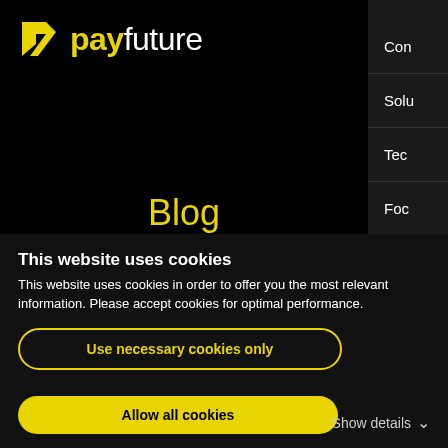[Figure (logo): Payfuture logo: yellow angular P icon and text 'payfuture' with 'pay' in yellow bold and 'future' in white]
Blog
[Figure (illustration): Dark background with layered angled cards/phones showing yellow gradient and white card with network graph icon]
Con
Solu
Tec
Foc
Inte
This website uses cookies
This website uses cookies in order to offer you the most relevant information. Please accept cookies for optimal performance.
Use necessary cookies only
Allow all cookies
Show details